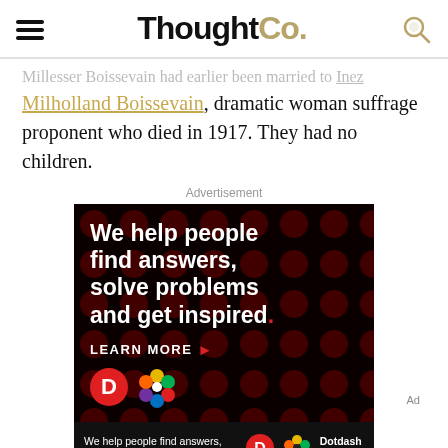ThoughtCo.
Milholland Boissevain, dramatic woman suffrage proponent who died in 1917. They had no children.
Advertisement
[Figure (other): ThoughtCo / Dotdash Meredith advertisement banner: black background with dark red polka dot pattern, white bold text reading 'We help people find answers, solve problems and get inspired.' with a red period, 'LEARN MORE' button with right arrow, Dotdash 'D' logo in red circle, and colorful Dotdash Meredith flower logo. Bottom bar repeats tagline with logos and 'Dotdash meredith' branding.]